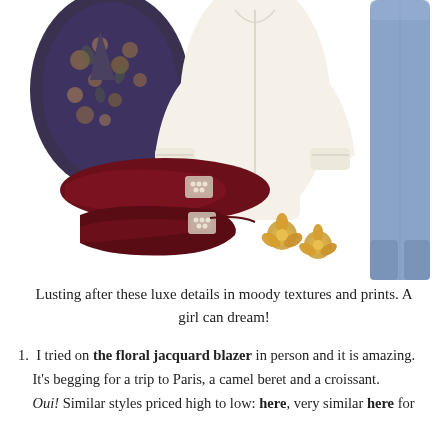[Figure (photo): Fashion flat lay: dark floral jacquard blazer (top left), cream blouse with billowy sleeves and cuffed wrists (center), blue denim jeans (right), dark burgundy velvet pointed-toe flats with crystal square buckle detail (bottom left), and gold flower earrings (bottom center).]
Lusting after these luxe details in moody textures and prints. A girl can dream!
1. I tried on the floral jacquard blazer in person and it is amazing. It's begging for a trip to Paris, a camel beret and a croissant. Oui! Similar styles priced high to low: here, very similar here for